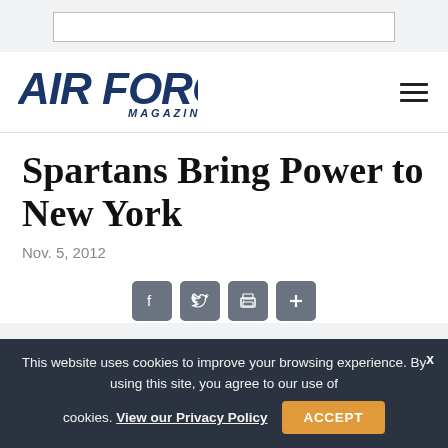[Figure (logo): Air Force Magazine logo — bold dark blue sans-serif text 'AIR FORCE' with 'MAGAZINE' below in smaller text]
Spartans Bring Power to New York
Nov. 5, 2012
[Figure (infographic): Social sharing buttons: Facebook, Twitter, Print, and a plus/more button]
This website uses cookies to improve your browsing experience. By using this site, you agree to our use of cookies. View our Privacy Policy
ACCEPT